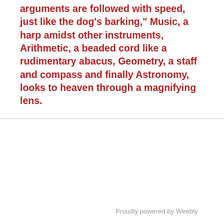arguments are followed with speed, just like the dog's barking," Music, a harp amidst other instruments, Arithmetic, a beaded cord like a rudimentary abacus, Geometry, a staff and compass and finally Astronomy, looks to heaven through a magnifying lens.
Proudly powered by Weebly